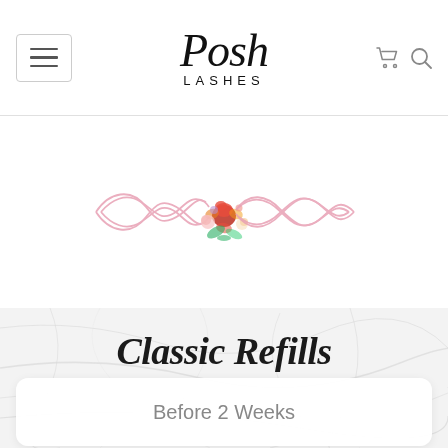Posh Lashes — navigation header with menu button, logo, cart and search icons
[Figure (illustration): Decorative pink flourish divider with a floral bouquet (roses) in the center]
Classic Refills
Before 2 Weeks